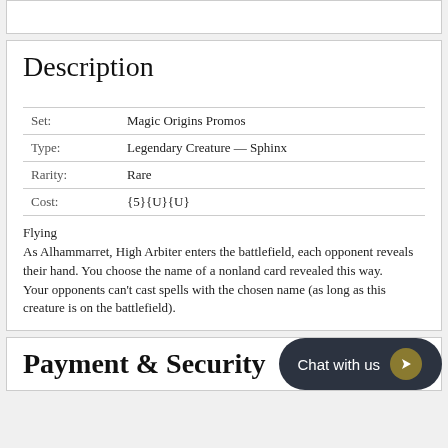Description
| Field | Value |
| --- | --- |
| Set: | Magic Origins Promos |
| Type: | Legendary Creature — Sphinx |
| Rarity: | Rare |
| Cost: | {5}{U}{U} |
Flying
As Alhammarret, High Arbiter enters the battlefield, each opponent reveals their hand. You choose the name of a nonland card revealed this way.
Your opponents can't cast spells with the chosen name (as long as this creature is on the battlefield).
Payment & Security